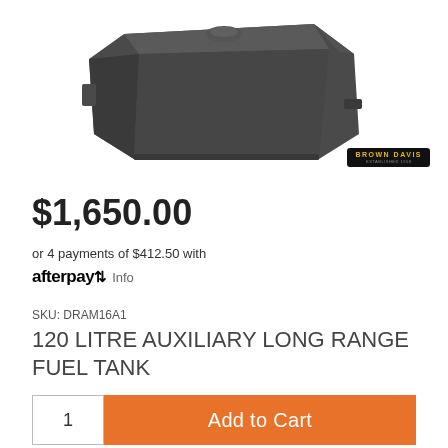[Figure (photo): Dark grey/charcoal colored auxiliary fuel tank, octagonal/trapezoidal shape, 3D product render on white background]
$1,650.00
or 4 payments of $412.50 with afterpay Info
SKU: DRAM16A1
120 LITRE AUXILIARY LONG RANGE FUEL TANK
1  Add to Cart